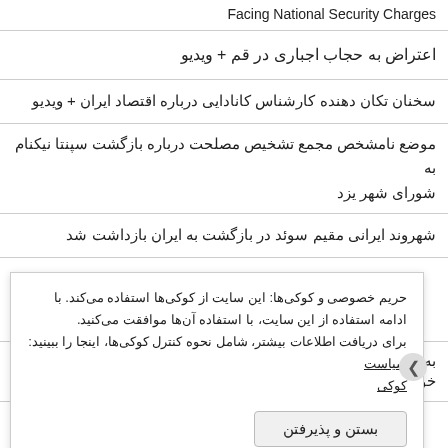Facing National Security Charges
اعتراض به حجاب اجباری در قم + ویدیو
سخنان تکان دهنده کارشناس کانادایی درباره اقتصاد ایران + ویدیو
موضع نامشخص مجمع تشخیص مصلحت درباره بازگشت سپنتا نیکنام به شورای شهر یزد
شهروند ایرانی مقیم سوئد در بازگشت به ایران بازداشت شد
Iranian Political Prisoner Urges "Contentious People" To Be the Voice of His Imprisoned Wife
به دنبال اعتراضات مردمی به یک برنامه تلویزیونی: دهها تن در خوزستان
حریم خصوصی و کوکی‌ها: این سایت از کوکی‌ها استفاده می‌کند. با ادامه استفاده از این سایت، با استفاده آن‌ها موافقت می‌کنید. برای دریافت اطلاعات بیشتر، شامل نحوه کنترل کوکی‌ها، اینجا را ببینید: سیاست کوکی
بستن و پذیرفتن